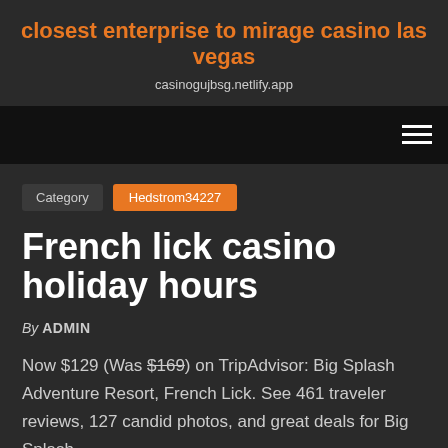closest enterprise to mirage casino las vegas
casinogujbsg.netlify.app
[Figure (other): Navigation bar with hamburger menu icon on dark/black background]
Category  Hedstrom34227
French lick casino holiday hours
By ADMIN
Now $129 (Was $169) on TripAdvisor: Big Splash Adventure Resort, French Lick. See 461 traveler reviews, 127 candid photos, and great deals for Big Splash